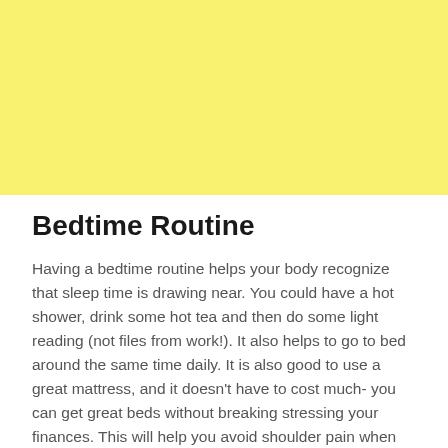[Figure (illustration): Yellow/light yellow background block occupying top portion of page]
Bedtime Routine
Having a bedtime routine helps your body recognize that sleep time is drawing near. You could have a hot shower, drink some hot tea and then do some light reading (not files from work!). It also helps to go to bed around the same time daily. It is also good to use a great mattress, and it doesn't have to cost much- you can get great beds without breaking stressing your finances. This will help you avoid shoulder pain when sleeping on your side.
As for weekends, ensure you maintain your weekday routines. It's